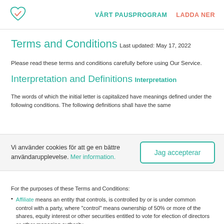VÅRT PAUSPROGRAM  LADDA NER
Terms and Conditions
Last updated: May 17, 2022
Please read these terms and conditions carefully before using Our Service.
Interpretation and Definitions
Interpretation
The words of which the initial letter is capitalized have meanings defined under the following conditions. The following definitions shall have the same
Vi använder cookies för att ge en bättre användarupplevelse. Mer information.
For the purposes of these Terms and Conditions:
Affiliate means an entity that controls, is controlled by or is under common control with a party, where "control" means ownership of 50% or more of the shares, equity interest or other securities entitled to vote for election of directors or other managing authority.